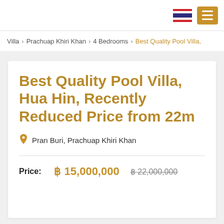Thai flag and menu button
Villa > Prachuap Khiri Khan > 4 Bedrooms > Best Quality Pool Villa,
Best Quality Pool Villa, Hua Hin, Recently Reduced Price from 22m
Pran Buri, Prachuap Khiri Khan
Price: ฿ 15,000,000  ฿ 22,000,000